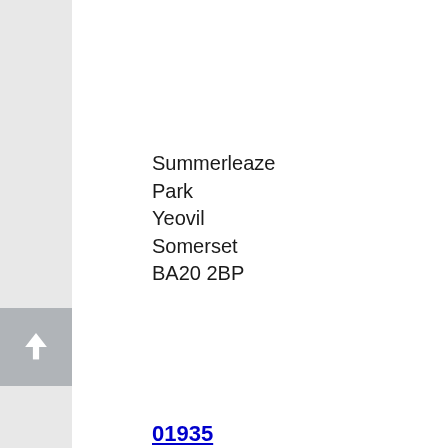Summerleaze Park
Yeovil
Somerset
BA20 2BP
01935 424753